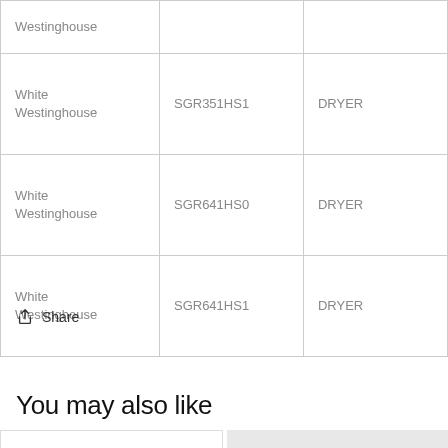| Westinghouse |  |  |
| White
Westinghouse | SGR351HS1 | DRYER |
| White
Westinghouse | SGR641HS0 | DRYER |
| White
Westinghouse | SGR641HS1 | DRYER |
Share
You may also like